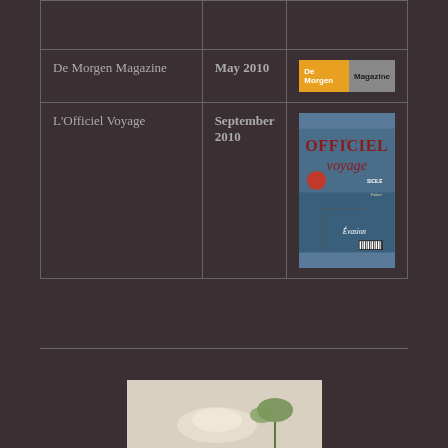|  |  |  |
| --- | --- | --- |
|  |  |  |
| De Morgen Magazine | May 2010 | [De Morgen Magazine logo] |
| L'Officiel Voyage | September 2010 | [L'Officiel Voyage cover image] |
[Figure (photo): Bottom photograph, partially visible, appears to show a light-colored subject on white background with some green element]